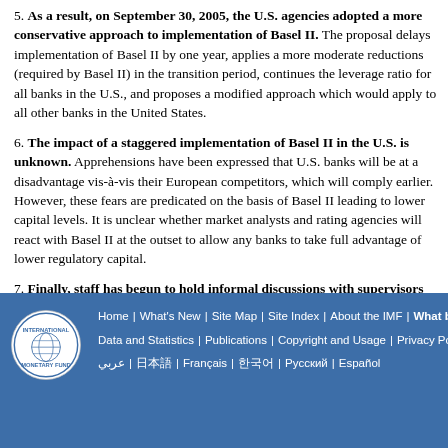5. As a result, on September 30, 2005, the U.S. agencies adopted a more conservative approach to implementation of Basel II. The proposal delays implementation of Basel II by one year, applies a more moderate reductions (required by Basel II) in the transition period, continues the leverage ratio for all banks in the U.S., and proposes a modified approach which would apply to all other banks in the United States.
6. The impact of a staggered implementation of Basel II in the U.S. is unknown. Apprehensions have been expressed that U.S. banks will be at a disadvantage vis-à-vis their European competitors, which will comply earlier. However, these fears are predicated on the basis of Basel II leading to lower capital levels. It is unclear whether market analysts and rating agencies will react with Basel II at the outset to allow any banks to take full advantage of lower regulatory capital.
7. Finally, staff has begun to hold informal discussions with supervisors to assess the quality of Basel II implementation by various countries. Given the importance of the world's major commercial banks, it will be important that Basel II is implemented by national authorities and that it meets the objectives of the new system. Given the complexity of some parts of Basel II and the resources involved, the challenge to assess the quality of implementation of Basel II is great when supervisors implement the new framework at the same time.
Home | What's New | Site Map | Site Index | About the IMF | What b... | Data and Statistics | Publications | Copyright and Usage | Privacy Polic... | عربي | 日本語 | Français | 한국어 | Русский | Español